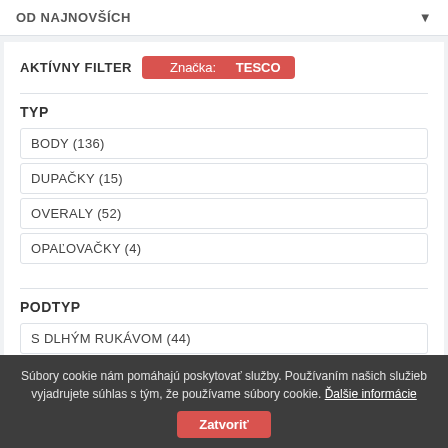OD NAJNOVŠÍCH
AKTÍVNY FILTER
Značka: TESCO
TYP
BODY (136)
DUPAČKY (15)
OVERALY (52)
OPAĽOVAČKY (4)
PODTYP
S DLHÝM RUKÁVOM (44)
S KRÁTKYM RUKÁVOM (75)
Súbory cookie nám pomáhajú poskytovať služby. Používaním našich služieb vyjadrujete súhlas s tým, že používame súbory cookie. Ďalšie informácie
Zatvoriť